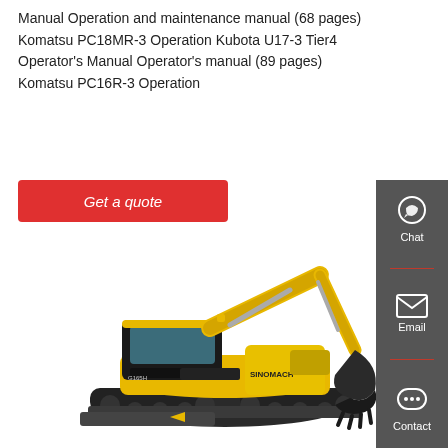Manual Operation and maintenance manual (68 pages) Komatsu PC18MR-3 Operation Kubota U17-3 Tier4 Operator's Manual Operator's manual (89 pages) Komatsu PC16R-3 Operation
[Figure (other): Red 'Get a quote' button]
[Figure (photo): Yellow SINOMACH mini excavator on tracks with black cab and yellow arm/boom]
[Figure (infographic): Dark grey sidebar with Chat (headset icon), Email (envelope icon), and Contact (speech bubble icon) options separated by red dividers]